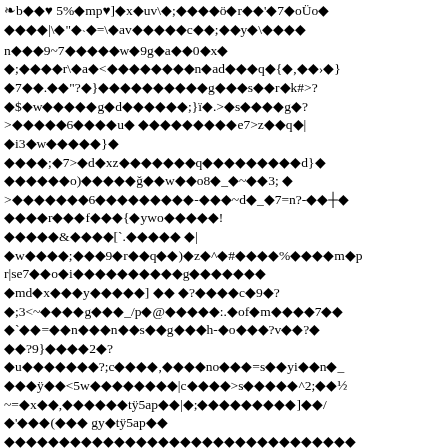Corrupted/encoded binary text content rendered as a mix of diamond replacement characters and ASCII characters. The content appears to be garbled or encoded data that cannot be meaningfully transcribed as natural language text.